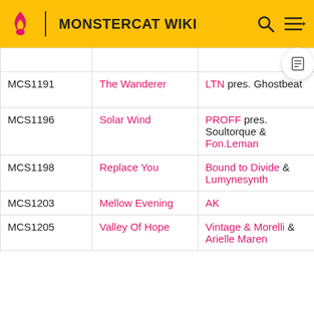MONSTERCAT WIKI
| Catalog # | Title | Artist | Date |
| --- | --- | --- | --- |
|  |  |  | 2021 |
| MCS1191 | The Wanderer | LTN pres. Ghostbeat | May 14, 2021 |
| MCS1196 | Solar Wind | PROFF pres. Soultorque & Fon.Leman | May 21, 2021 |
| MCS1198 | Replace You | Bound to Divide & Lumynesynth | May 26, 2021 |
| MCS1203 | Mellow Evening | AK | June 2, 2021 |
| MCS1205 | Valley Of Hope | Vintage & Morelli & Arielle Maren | June 4, 2021 |